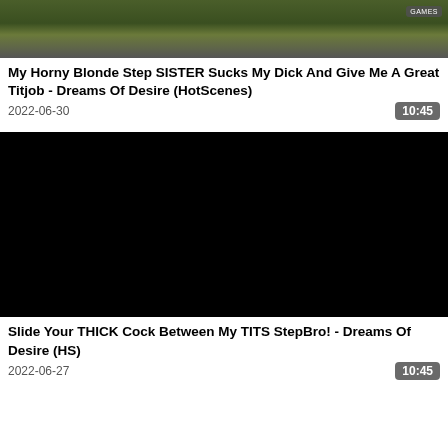[Figure (screenshot): Video thumbnail showing outdoor scene with greenery, GAMES badge in top right corner]
My Horny Blonde Step SISTER Sucks My Dick And Give Me A Great Titjob - Dreams Of Desire (HotScenes)
2022-06-30   10:45
[Figure (screenshot): Black video thumbnail]
Slide Your THICK Cock Between My TITS StepBro! - Dreams Of Desire (HS)
2022-06-27   10:45